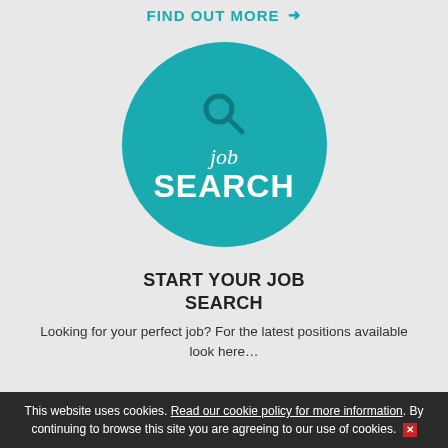FIND OUT MORE →
[Figure (illustration): Teal circular icon with a magnifying glass symbol, the word 'job' in italic white script, and 'SEARCH' in bold white capital letters below]
START YOUR JOB SEARCH
Looking for your perfect job? For the latest positions available look here…
This website uses cookies. Read our cookie policy for more information. By continuing to browse this site you are agreeing to our use of cookies. [x]